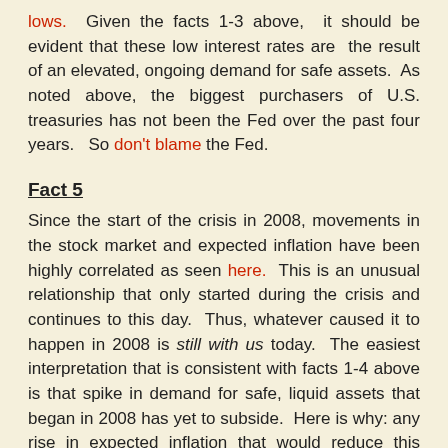lows. Given the facts 1-3 above, it should be evident that these low interest rates are the result of an elevated, ongoing demand for safe assets. As noted above, the biggest purchasers of U.S. treasuries has not been the Fed over the past four years. So don't blame the Fed.
Fact 5
Since the start of the crisis in 2008, movements in the stock market and expected inflation have been highly correlated as seen here. This is an unusual relationship that only started during the crisis and continues to this day. Thus, whatever caused it to happen in 2008 is still with us today. The easiest interpretation that is consistent with facts 1-4 above is that spike in demand for safe, liquid assets that began in 2008 has yet to subside. Here is why: any rise in expected inflation that would reduce this intense demand for liquid assets and thereby raise the expected future nominal income, would also raise expectations of higher future stock prices. In